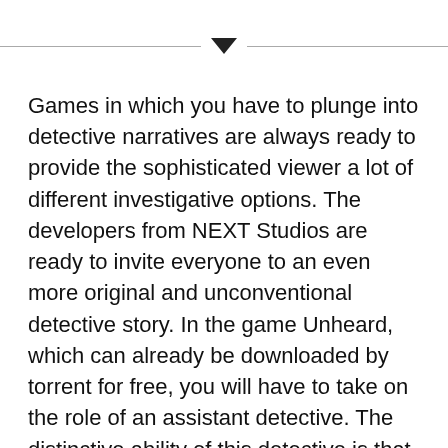[Figure (other): Horizontal divider line with a downward-pointing triangle in the center]
Games in which you have to plunge into detective narratives are always ready to provide the sophisticated viewer a lot of different investigative options. The developers from NEXT Studios are ready to invite everyone to an even more original and unconventional detective story. In the game Unheard, which can already be downloaded by torrent for free, you will have to take on the role of an assistant detective. The distinctive ability of this detective is that he is able to penetrate into the past, while listening to the sounds and voices of the actors. The only drawback is that he can't see anything. This gift has helped him achieve unprecedented success